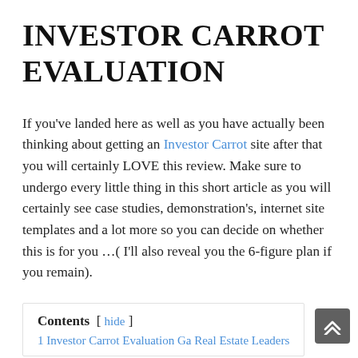INVESTOR CARROT EVALUATION
If you've landed here as well as you have actually been thinking about getting an Investor Carrot site after that you will certainly LOVE this review. Make sure to undergo every little thing in this short article as you will certainly see case studies, demonstration's, internet site templates and a lot more so you can decide on whether this is for you …( I'll also reveal you the 6-figure plan if you remain).
Contents [ hide ]
1 Investor Carrot Evaluation Ga Real Estate Leaders